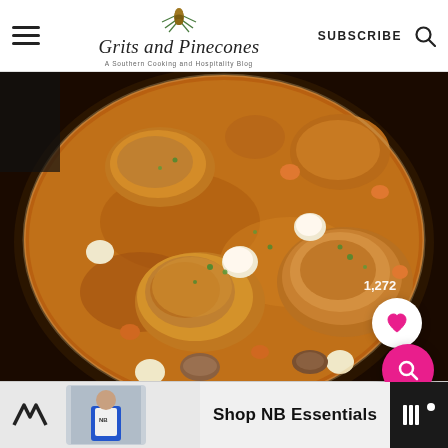Grits and Pinecones — A Southern Cooking and Hospitality Blog
[Figure (photo): Overhead view of braised chicken pieces in a cast iron dutch oven with pearl onions, carrots, and herbs in a rich brown sauce, garnished with fresh parsley. A white heart/save button with count 1,272 and a pink search button are overlaid on the photo.]
[Figure (photo): Advertisement banner for New Balance showing a person wearing New Balance apparel with text 'Shop NB Essentials' and a New Balance logo on the left, and a dark logo on the right.]